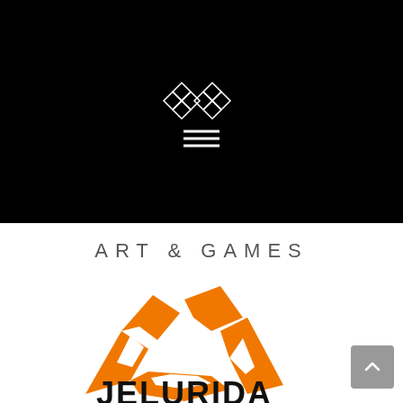[Figure (logo): Black header bar with a white geometric diamond/star pattern logo and three horizontal menu lines beneath it]
ART & GAMES
[Figure (logo): Jelurida company logo: an orange abstract angular A/mountain-like symbol above the word JELURIDA in bold black letters]